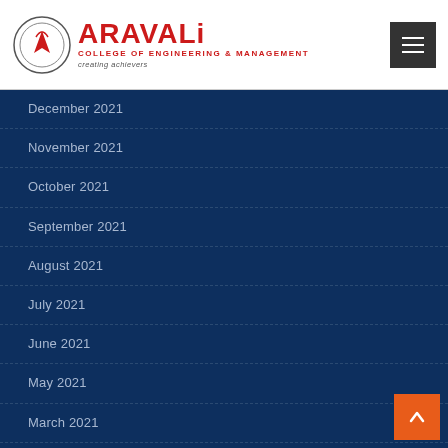[Figure (logo): Aravali College of Engineering & Management logo with circular emblem, red text ARAVALI, subtitle COLLEGE OF ENGINEERING & MANAGEMENT, tagline creating achievers]
December 2021
November 2021
October 2021
September 2021
August 2021
July 2021
June 2021
May 2021
March 2021
September 2020
August 2020